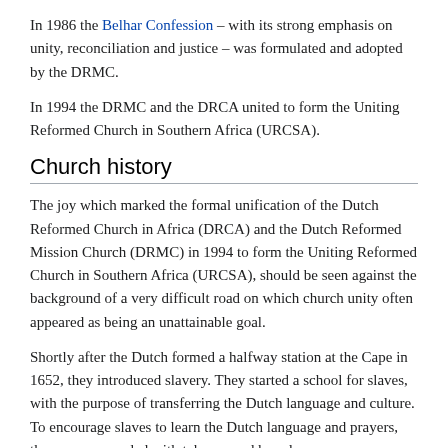In 1986 the Belhar Confession – with its strong emphasis on unity, reconciliation and justice – was formulated and adopted by the DRMC.
In 1994 the DRMC and the DRCA united to form the Uniting Reformed Church in Southern Africa (URCSA).
Church history
The joy which marked the formal unification of the Dutch Reformed Church in Africa (DRCA) and the Dutch Reformed Mission Church (DRMC) in 1994 to form the Uniting Reformed Church in Southern Africa (URCSA), should be seen against the background of a very difficult road on which church unity often appeared as being an unattainable goal.
Shortly after the Dutch formed a halfway station at the Cape in 1652, they introduced slavery. They started a school for slaves, with the purpose of transferring the Dutch language and culture. To encourage slaves to learn the Dutch language and prayers, they were rewarded with tobacco and brandy.